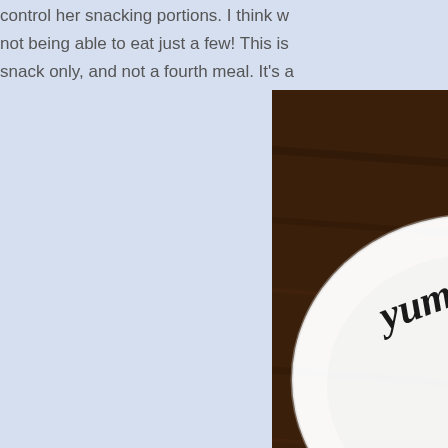control her snacking portions. I think w... not being able to eat just a few! This is snack only, and not a fourth meal. It's a
[Figure (photo): A white ceramic Yum Yum Dish sitting on a dark wood surface, with cursive 'yum' text visible on the dish.]
Isn't this ceramic Yum Yum Dish adora... whether it's my snack-time or meal-time... pound weight loss each month!
***The generous folks at Yum Yum Dis... For the next two weeks only, you wi... Dishes when you use the coupon co...